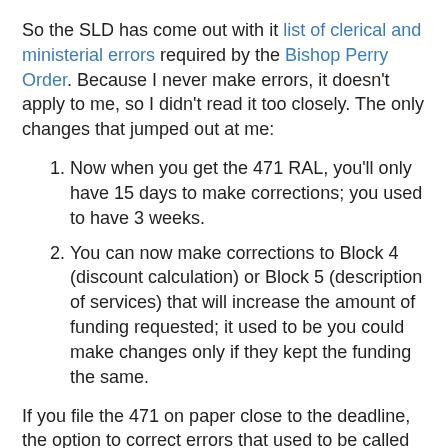So the SLD has come out with it list of clerical and ministerial errors required by the Bishop Perry Order. Because I never make errors, it doesn't apply to me, so I didn't read it too closely. The only changes that jumped out at me:
Now when you get the 471 RAL, you'll only have 15 days to make corrections; you used to have 3 weeks.
You can now make corrections to Block 4 (discount calculation) or Block 5 (description of services) that will increase the amount of funding requested; it used to be you could make changes only if they kept the funding the same.
If you file the 471 on paper close to the deadline, the option to correct errors that used to be called Minimum Processing Standards is wonderful, but no one should be filing on paper.
The ability to certify after the deadline is nice for people who forget, but I find myself certifying everything online, so again it doesn't help me.
No word from the SLD yet on the "expanded outreach"